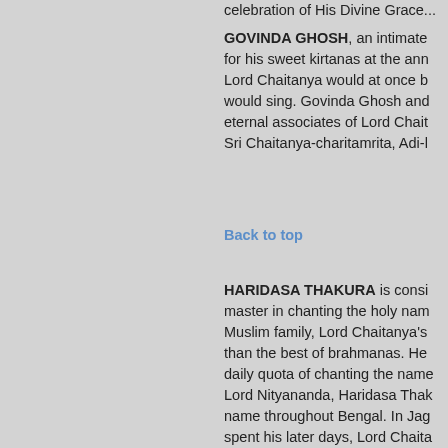celebration of His Divine Grace...
GOVINDA GHOSH, an intimate... for his sweet kirtanas at the ann... Lord Chaitanya would at once b... would sing. Govinda Ghosh and... eternal associates of Lord Chait... Sri Chaitanya-charitamrita, Adi-l...
Back to top
HARIDASA THAKURA is consi... master in chanting the holy nam... Muslim family, Lord Chaitanya's... than the best of brahmanas. He... daily quota of chanting the name... Lord Nityananda, Haridasa Thak... name throughout Bengal. In Jag... spent his later days, Lord Chaita... and discuss with him topics of K... Krishna's name in the presence... Haridasa Thakura's death, Lord... with His own hands buried him i... charitamrita, Adi-lila 10.43 an...